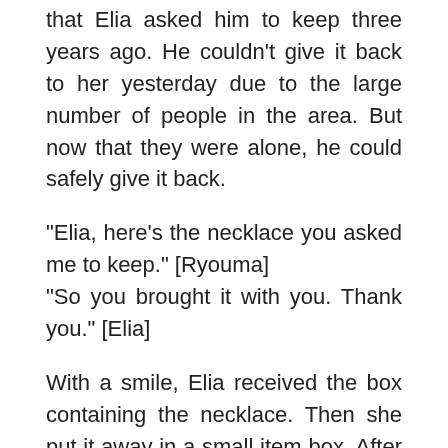that Elia asked him to keep three years ago. He couldn't give it back to her yesterday due to the large number of people in the area. But now that they were alone, he could safely give it back.
“Elia, here’s the necklace you asked me to keep.” [Ryouma]
“So you brought it with you. Thank you.” [Elia]
With a smile, Elia received the box containing the necklace. Then she put it away in a small item box. After that she whispered to Sebasu, and had him take out two slimes from his Dimension Home.